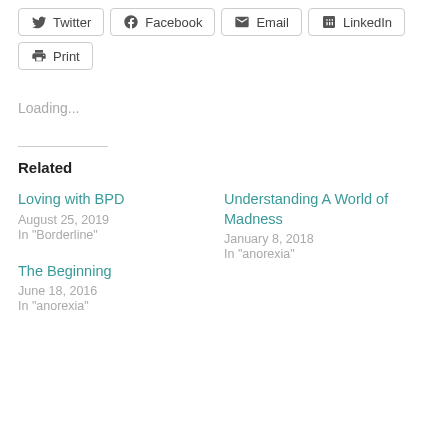Twitter
Facebook
Email
LinkedIn
Print
Loading...
Related
Loving with BPD
August 25, 2019
In "Borderline"
Understanding A World of Madness
January 8, 2018
In "anorexia"
The Beginning
June 18, 2016
In "anorexia"